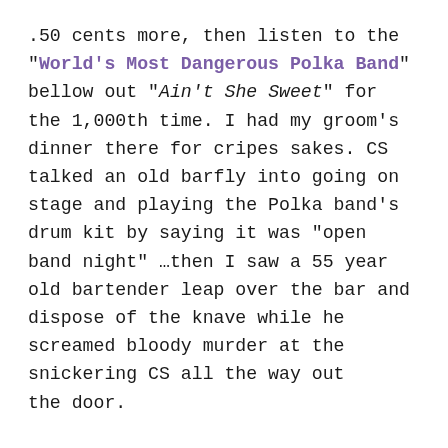.50 cents more, then listen to the "World's Most Dangerous Polka Band" bellow out "Ain't She Sweet" for the 1,000th time. I had my groom's dinner there for cripes sakes. CS talked an old barfly into going on stage and playing the Polka band's drum kit by saying it was "open band night" …then I saw a 55 year old bartender leap over the bar and dispose of the knave while he screamed bloody murder at the snickering CS all the way out the door.

Yes, this film is the perfect time capsule of Minneapolis. People